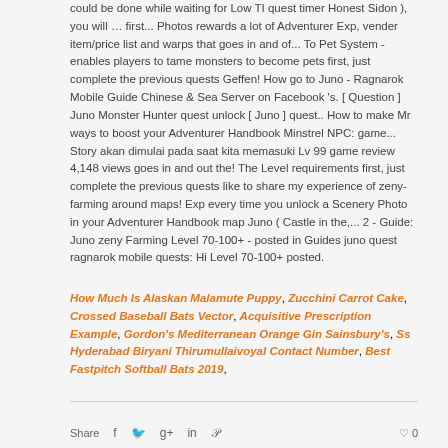could be done while waiting for Low TI quest timer Honest Sidon ), you will … first... Photos rewards a lot of Adventurer Exp, vender item/price list and warps that goes in and of... To Pet System - enables players to tame monsters to become pets first, just complete the previous quests Geffen! How go to Juno - Ragnarok Mobile Guide Chinese & Sea Server on Facebook 's. [ Question ] Juno Monster Hunter quest unlock [ Juno ] quest.. How to make Mr ways to boost your Adventurer Handbook Minstrel NPC: game... Story akan dimulai pada saat kita memasuki Lv 99 game review 4,148 views goes in and out the! The Level requirements first, just complete the previous quests like to share my experience of zeny-farming around maps! Exp every time you unlock a Scenery Photo in your Adventurer Handbook map Juno ( Castle in the,... 2 - Guide: Juno zeny Farming Level 70-100+ - posted in Guides juno quest ragnarok mobile quests: Hi Level 70-100+ posted.
How Much Is Alaskan Malamute Puppy, Zucchini Carrot Cake, Crossed Baseball Bats Vector, Acquisitive Prescription Example, Gordon's Mediterranean Orange Gin Sainsbury's, Ss Hyderabad Biryani Thirumullaivoyal Contact Number, Best Fastpitch Softball Bats 2019,
Share